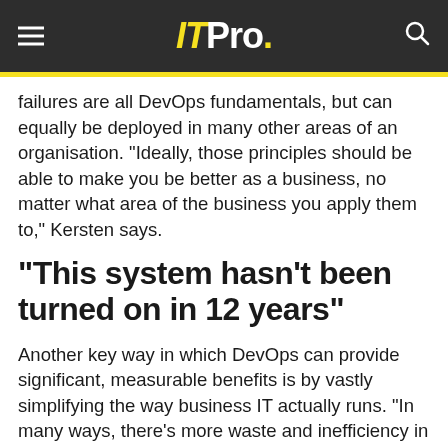ITPro.
failures are all DevOps fundamentals, but can equally be deployed in many other areas of an organisation. "Ideally, those principles should be able to make you be better as a business, no matter what area of the business you apply them to," Kersten says.
"This system hasn't been turned on in 12 years"
Another key way in which DevOps can provide significant, measurable benefits is by vastly simplifying the way business IT actually runs. "In many ways, there's more waste and inefficiency in large